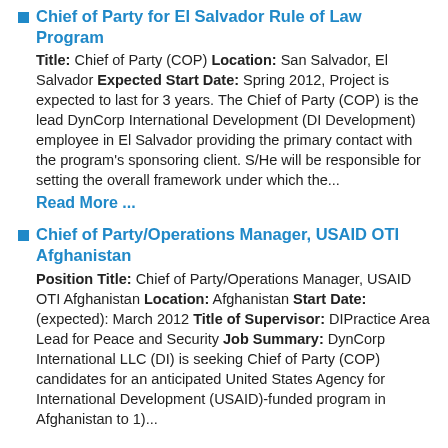Chief of Party for El Salvador Rule of Law Program
Title: Chief of Party (COP) Location: San Salvador, El Salvador Expected Start Date: Spring 2012, Project is expected to last for 3 years. The Chief of Party (COP) is the lead DynCorp International Development (DI Development) employee in El Salvador providing the primary contact with the program's sponsoring client. S/He will be responsible for setting the overall framework under which the...
Read More ...
Chief of Party/Operations Manager, USAID OTI Afghanistan
Position Title: Chief of Party/Operations Manager, USAID OTI Afghanistan Location: Afghanistan Start Date: (expected): March 2012 Title of Supervisor: DIPractice Area Lead for Peace and Security Job Summary: DynCorp International LLC (DI) is seeking Chief of Party (COP) candidates for an anticipated United States Agency for International Development (USAID)-funded program in Afghanistan to 1)...